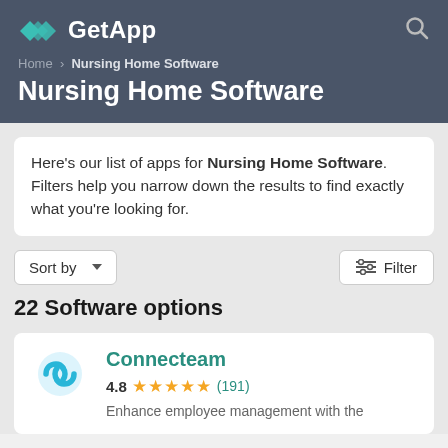GetApp
Nursing Home Software
Here's our list of apps for Nursing Home Software. Filters help you narrow down the results to find exactly what you're looking for.
22 Software options
Connecteam — 4.8 ★★★★★ (191) — Enhance employee management with the